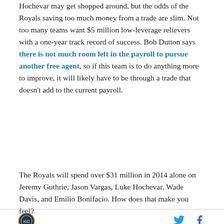Hochevar may get shopped around, but the odds of the Royals saving too much money from a trade are slim. Not too many teams want $5 million low-leverage relievers with a one-year track record of success. Bob Dutton says there is not much room left in the payroll to pursue another free agent, so if this team is to do anything more to improve, it will likely have to be through a trade that doesn't add to the current payroll.
The Royals will spend over $31 million in 2014 alone on Jeremy Guthrie, Jason Vargas, Luke Hochevar, Wade Davis, and Emilio Bonifacio. How does that make you feel?
[Figure (logo): Circular sports team logo with blue and gold design]